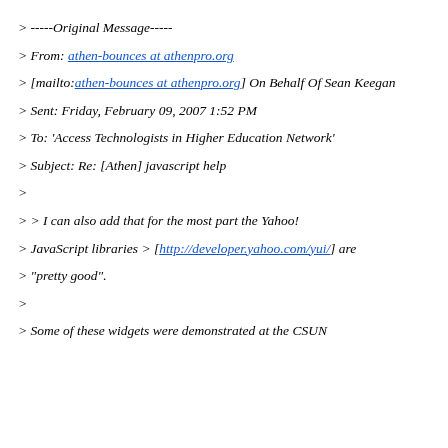> -----Original Message-----
> From: athen-bounces at athenpro.org
> [mailto:athen-bounces at athenpro.org] On Behalf Of Sean Keegan
> Sent: Friday, February 09, 2007 1:52 PM
> To: 'Access Technologists in Higher Education Network'
> Subject: Re: [Athen] javascript help
>
> > I can also add that for the most part the Yahoo!
> JavaScript libraries > [http://developer.yahoo.com/yui/] are
> "pretty good".
>
> Some of these widgets were demonstrated at the CSUN